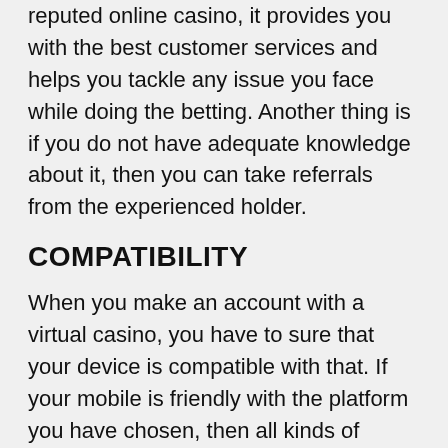reputed online casino, it provides you with the best customer services and helps you tackle any issue you face while doing the betting. Another thing is if you do not have adequate knowledge about it, then you can take referrals from the experienced holder.
COMPATIBILITY
When you make an account with a virtual casino, you have to sure that your device is compatible with that. If your mobile is friendly with the platform you have chosen, then all kinds of online betting games will run smoothly as you all know that there are thousands of betting apps that are accessible in every corner of the world. Not only this, but they are also rendering a bonus that is basically up to Rs50000 if one can get this then one can live by doing luxurious things. Besides